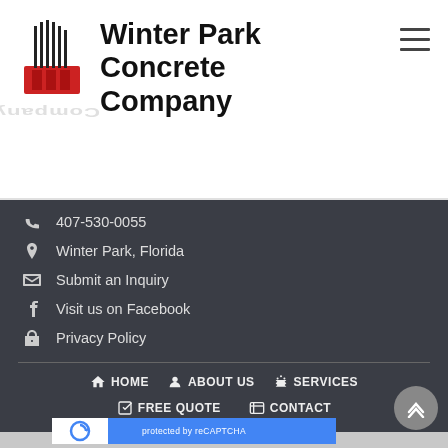Winter Park Concrete Company
407-530-0055
Winter Park, Florida
Submit an Inquiry
Visit us on Facebook
Privacy Policy
HOME   ABOUT US   SERVICES   FREE QUOTE   CONTACT